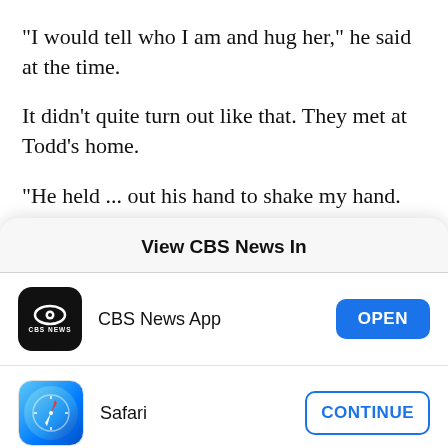"I would tell who I am and hug her," he said at the time.
It didn't quite turn out like that. They met at Todd's home.
"He held ... out his hand to shake my hand. And I thought, 'Well, I'm not quite comfortable with that. I'd rather give a hug,'" she said. "It was just a surreal
View CBS News In
CBS News App
Safari